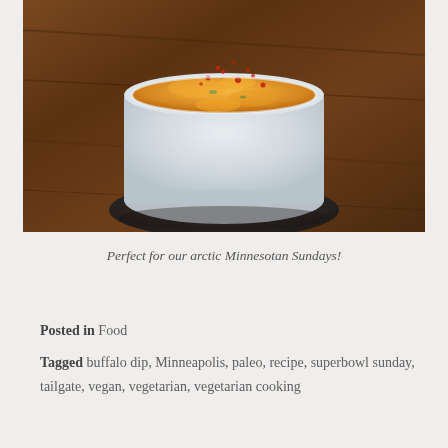[Figure (photo): A glass bowl filled with creamy orange buffalo dip topped with red paprika/chili flakes, sitting on a dark round coaster on a wooden table.]
Perfect for our arctic Minnesotan Sundays!
Posted in Food
Tagged buffalo dip, Minneapolis, paleo, recipe, superbowl sunday, tailgate, vegan, vegetarian, vegetarian cooking